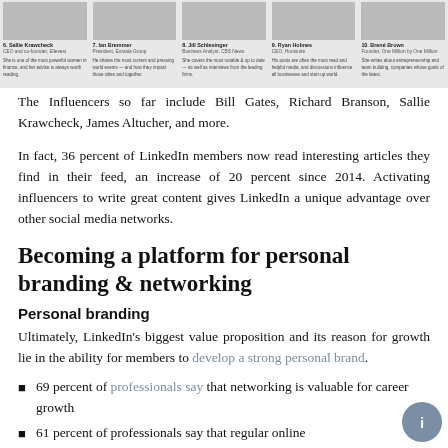[Figure (photo): Row of five black-and-white headshot photos with captions: 6. Sallie Krawcheck (CEO and co-founder, Ellevest), 7. Ian Bremmer (President, Eurasia Group), 8. Jill Schlesinger (Business Analyst, CBS News), 9. Ryan Holmes (CEO, Hootsuite), 10. Brené Brown (Researcher, author, lecturer)]
The Influencers so far include Bill Gates, Richard Branson, Sallie Krawcheck, James Altucher, and more.
In fact, 36 percent of LinkedIn members now read interesting articles they find in their feed, an increase of 20 percent since 2014. Activating influencers to write great content gives LinkedIn a unique advantage over other social media networks.
Becoming a platform for personal branding & networking
Personal branding
Ultimately, LinkedIn's biggest value proposition and its reason for growth lie in the ability for members to develop a strong personal brand.
69 percent of professionals say that networking is valuable for career growth
61 percent of professionals say that regular online